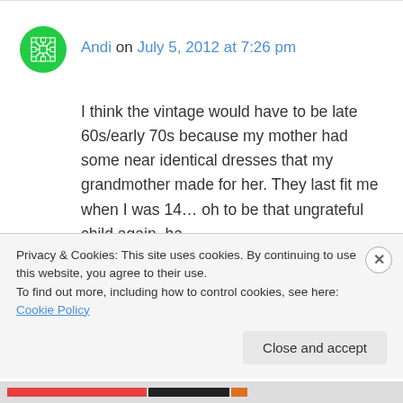[Figure (illustration): Green circular avatar icon with geometric snowflake/cross pattern]
Andi on July 5, 2012 at 7:26 pm
I think the vintage would have to be late 60s/early 70s because my mother had some near identical dresses that my grandmother made for her. They last fit me when I was 14… oh to be that ungrateful child again, ha.
I think you can wear it with flat sandals and a jean jacket to run errands. At least, that's what I
Privacy & Cookies: This site uses cookies. By continuing to use this website, you agree to their use.
To find out more, including how to control cookies, see here: Cookie Policy
Close and accept